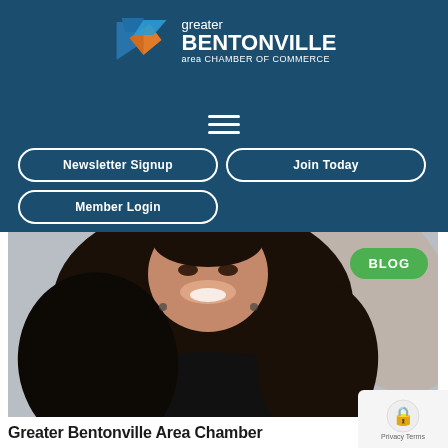[Figure (logo): Greater Bentonville Area Chamber of Commerce logo with geometric arrow shapes in blue and orange]
[Figure (other): Hamburger menu icon (three horizontal white lines)]
Newsletter Signup
Join Today
Member Login
[Figure (photo): Professional headshot of a smiling woman with long dark hair wearing a black top, with a BLOG badge overlay in green]
Greater Bentonville Area Chamber